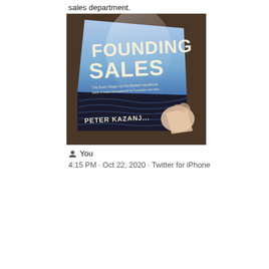sales department.
[Figure (photo): A person holding a physical copy of the book 'Founding Sales' by Peter Kazanjy. The book cover features large white text on a blue and dark wave background.]
You
4:15 PM · Oct 22, 2020 · Twitter for iPhone